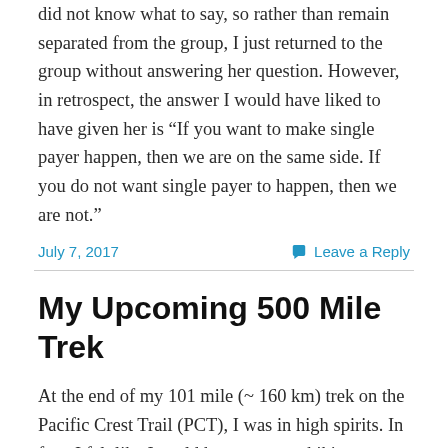did not know what to say, so rather than remain separated from the group, I just returned to the group without answering her question. However, in retrospect, the answer I would have liked to have given her is “If you want to make single payer happen, then we are on the same side. If you do not want single payer to happen, then we are not.”
July 7, 2017
Leave a Reply
My Upcoming 500 Mile Trek
At the end of my 101 mile (~ 160 km) trek on the Pacific Crest Trail (PCT), I was in high spirits. In fact, I felt like I could have gone on hiking some more. Now, I did not do continue hiking for various practical reasons, but it gave